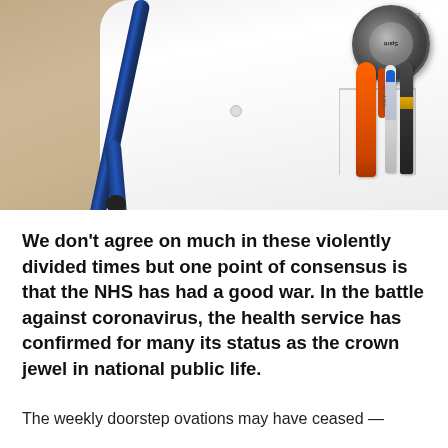[Figure (photo): Close-up photo of a doctor in a white coat with a blue stethoscope and medical tools (orange pen-like tool, white pen, dark instrument) in the breast pocket. A Spirit brand stethoscope head is visible in the upper right corner.]
We don't agree on much in these violently divided times but one point of consensus is that the NHS has had a good war. In the battle against coronavirus, the health service has confirmed for many its status as the crown jewel in national public life.
The weekly doorstep ovations may have ceased —